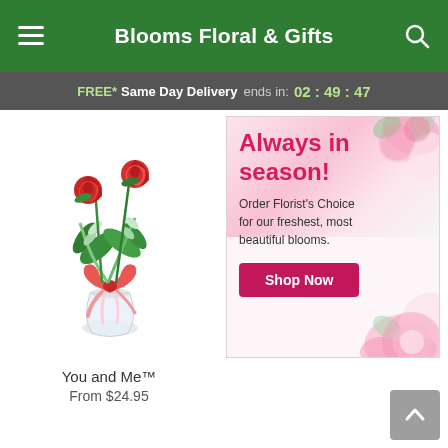Blooms Floral & Gifts
FREE* Same Day Delivery ends in: 02:49:47
[Figure (photo): You and Me floral arrangement: two red roses with greenery in a clear glass vase with a pink/red ribbon bow]
You and Me™
From $24.95
[Figure (infographic): Advertisement banner with pink flowers background. Text: 'Always in season! Order Florist's Choice for our freshest, most beautiful blooms.' with a pink 'Shop Now' button.]